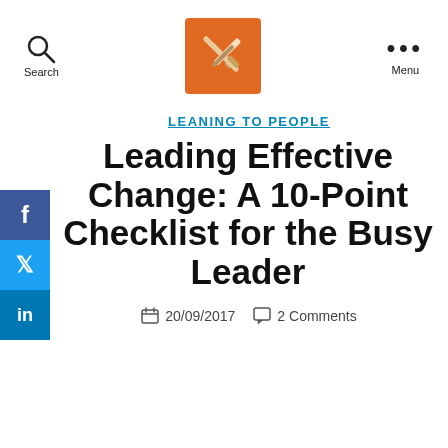Search | [Logo] | Menu
LEANING TO PEOPLE
Leading Effective Change: A 10-Point Checklist for the Busy Leader
20/09/2017   2 Comments